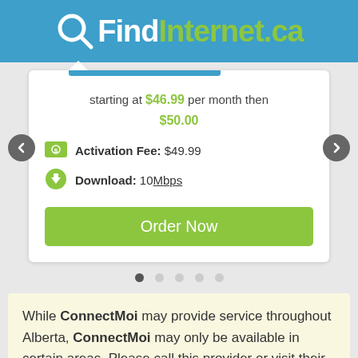QFindInternet.ca
starting at $46.99 per month then $50.00
Activation Fee: $49.99
Download: 10 Mbps
Order Now
While ConnectMoi may provide service throughout Alberta, ConnectMoi may only be available in certain areas. Please call this provider or visit their website for more details.